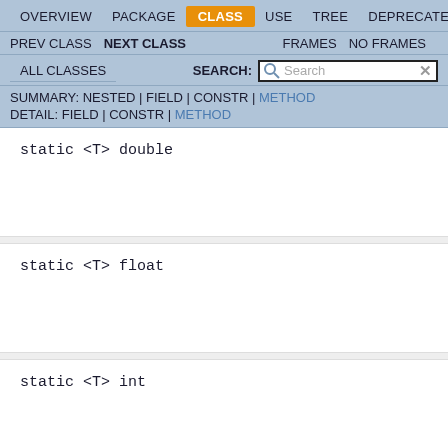OVERVIEW  PACKAGE  CLASS  USE  TREE  DEPRECATED
PREV CLASS  NEXT CLASS  FRAMES  NO FRAMES
ALL CLASSES  SEARCH:
SUMMARY: NESTED | FIELD | CONSTR | METHOD
DETAIL: FIELD | CONSTR | METHOD
static <T> double
static <T> float
static <T> int
static <T> long